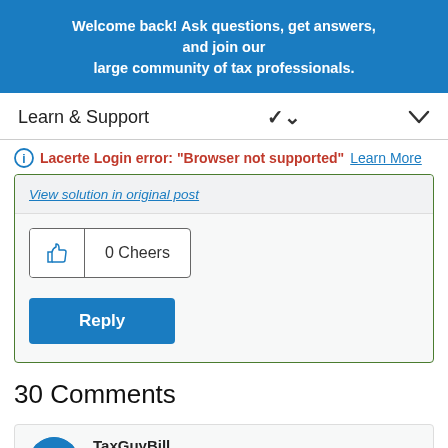Welcome back! Ask questions, get answers, and join our large community of tax professionals.
Learn & Support
Lacerte Login error: "Browser not supported" Learn More
View solution in original post
0 Cheers
Reply
30 Comments
TaxGuyBill
Level 15